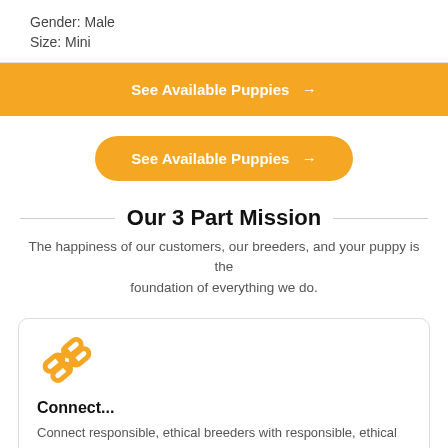Gender: Male
Size: Mini
See Available Puppies →
See Available Puppies →
Our 3 Part Mission
The happiness of our customers, our breeders, and your puppy is the foundation of everything we do.
[Figure (illustration): Orange chain link icon]
Connect...
Connect responsible, ethical breeders with responsible, ethical buyers. Our mission is to take the uncertainty and headache out of finding the perfect puppy.